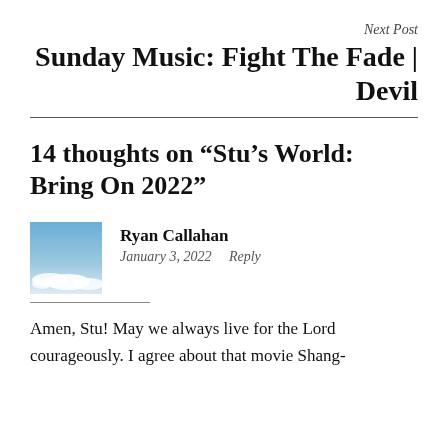Next Post
Sunday Music: Fight The Fade | Devil
14 thoughts on “Stu’s World: Bring On 2022”
Ryan Callahan
January 3, 2022   Reply
Amen, Stu! May we always live for the Lord courageously. I agree about that movie Shang-